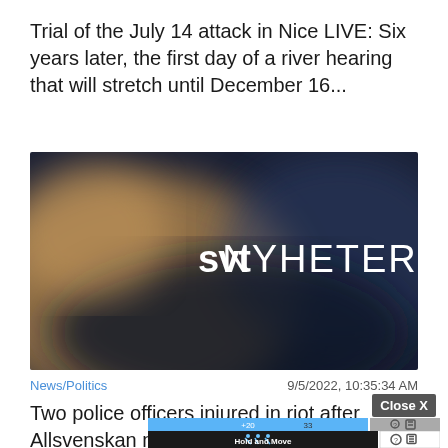Trial of the July 14 attack in Nice LIVE: Six years later, the first day of a river hearing that will stretch until December 16...
[Figure (screenshot): SVT Nyheter video thumbnail with blurred background showing the SVT NYHETER logo in white text]
News/Politics
9/5/2022, 10:35:34 AM
Two police officers injured in riot after Allsvenskan match
Close X
[Figure (screenshot): Partial advertisement overlay showing a Hold and Move app advertisement with help and close buttons]